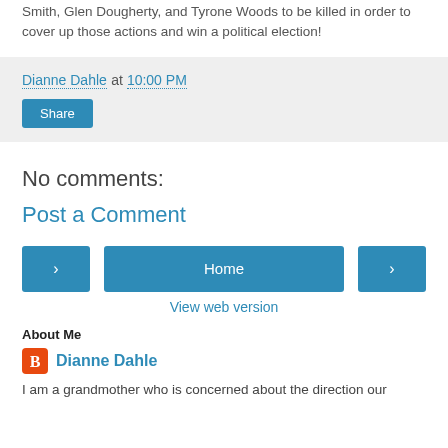Smith, Glen Dougherty, and Tyrone Woods to be killed in order to cover up those actions and win a political election!
Dianne Dahle at 10:00 PM
Share
No comments:
Post a Comment
Home
View web version
About Me
Dianne Dahle
I am a grandmother who is concerned about the direction our